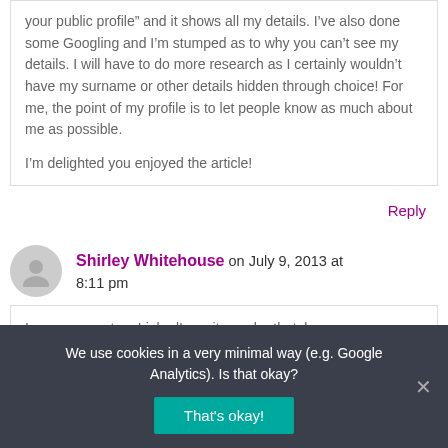your public profile” and it shows all my details. I’ve also done some Googling and I’m stumped as to why you can’t see my details. I will have to do more research as I certainly wouldn’t have my surname or other details hidden through choice! For me, the point of my profile is to let people know as much about me as possible.
I’m delighted you enjoyed the article!
Reply
Shirley Whitehouse on July 9, 2013 at 8:11 pm
I am no expert on LinkedIn — it may be that, by
We use cookies in a very minimal way (e.g. Google Analytics). Is that okay?
That's okay!